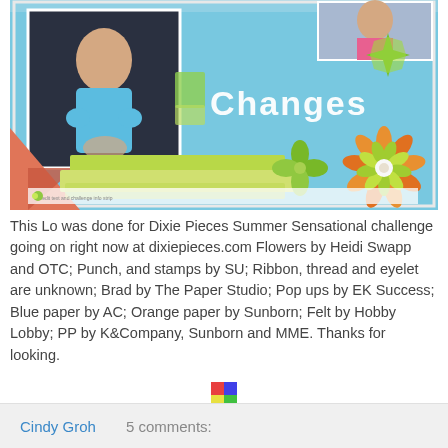[Figure (photo): Scrapbook layout titled 'Changes' featuring a toddler in a blue top, with colorful papers, flowers, and decorative elements in blue, green, and orange.]
This Lo was done for Dixie Pieces Summer Sensational challenge going on right now at dixiepieces.com Flowers by Heidi Swapp and OTC; Punch, and stamps by SU; Ribbon, thread and eyelet are unknown; Brad by The Paper Studio; Pop ups by EK Success; Blue paper by AC; Orange paper by Sunborn; Felt by Hobby Lobby; PP by K&Company, Sunborn and MME. Thanks for looking.
[Figure (logo): Small colorful logo icon]
Cindy Groh   5 comments: